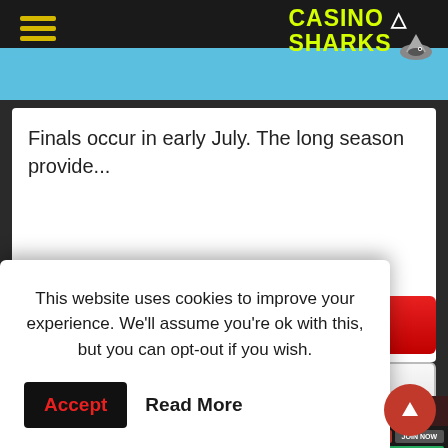CASINO 4 SHARKS
Finals occur in early July. The long season provide...
Play Now
Read More
[Figure (screenshot): Sports betting website interface showing login/join buttons, green bet bar, and bet slip panel]
This website uses cookies to improve your experience. We'll assume you're ok with this, but you can opt-out if you wish.
Accept   Read More